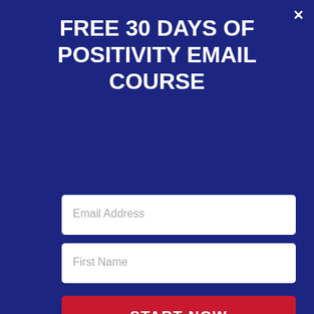FREE 30 DAYS OF POSITIVITY EMAIL COURSE
Email Address
First Name
START NOW
advertising fees by advertising and linking to Amazon.com. This post also contains affiliate links. Any purchase made through such links will award me a small commission or referral fee, at no extra cost for you.